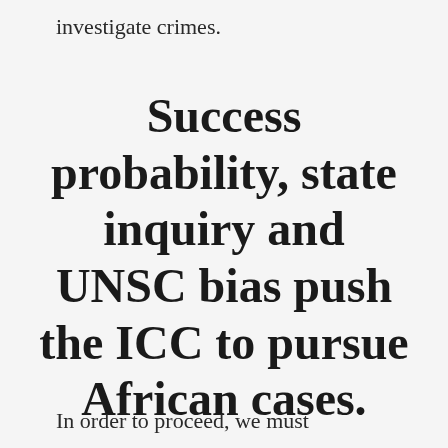investigate crimes.
Success probability, state inquiry and UNSC bias push the ICC to pursue African cases.
In order to proceed, we must